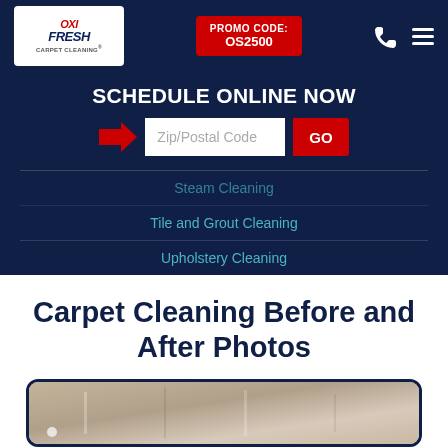[Figure (screenshot): Oxi Fresh Carpet Cleaning logo in white box with red OXI and blue FRESH text]
[Figure (screenshot): Red promo code box with text PROMO CODE: OS2500]
SCHEDULE ONLINE NOW
Zip/Postal Code GO
Steam Cleaning
Tile and Grout Cleaning
Upholstery Cleaning
Carpet Cleaning Before and After Photos
[Figure (photo): Partial photo of cleaned carpet/floor, cropped at bottom of page]